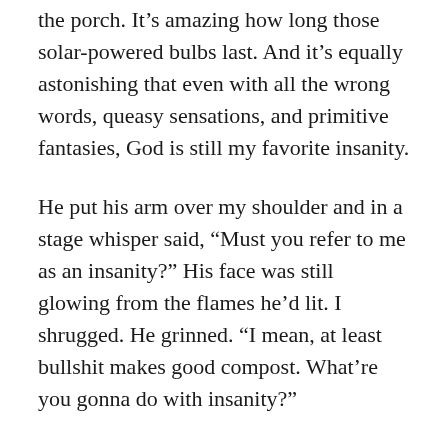the porch. It's amazing how long those solar-powered bulbs last. And it's equally astonishing that even with all the wrong words, queasy sensations, and primitive fantasies, God is still my favorite insanity.
He put his arm over my shoulder and in a stage whisper said, “Must you refer to me as an insanity?” His face was still glowing from the flames he’d lit. I shrugged. He grinned. “I mean, at least bullshit makes good compost. What’re you gonna do with insanity?”
It was my turn to laugh. “Give everything away,” I said, happy to have such an obvious answer. “I’ll just give everything away.”